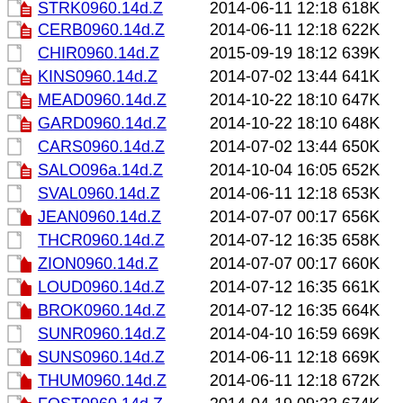STRK0960.14d.Z   2014-06-11 12:18 618K
CERB0960.14d.Z   2014-06-11 12:18 622K
CHIR0960.14d.Z   2015-09-19 18:12 639K
KINS0960.14d.Z   2014-07-02 13:44 641K
MEAD0960.14d.Z   2014-10-22 18:10 647K
GARD0960.14d.Z   2014-10-22 18:10 648K
CARS0960.14d.Z   2014-07-02 13:44 650K
SALO096a.14d.Z   2014-10-04 16:05 652K
SVAL0960.14d.Z   2014-06-11 12:18 653K
JEAN0960.14d.Z   2014-07-07 00:17 656K
THCR0960.14d.Z   2014-07-12 16:35 658K
ZION0960.14d.Z   2014-07-07 00:17 660K
LOUD0960.14d.Z   2014-07-12 16:35 661K
BROK0960.14d.Z   2014-07-12 16:35 664K
SUNR0960.14d.Z   2014-04-10 16:59 669K
SUNS0960.14d.Z   2014-06-11 12:18 669K
THUM0960.14d.Z   2014-06-11 12:18 672K
FQST0960.14d.Z   2014-04-19 09:32 674K